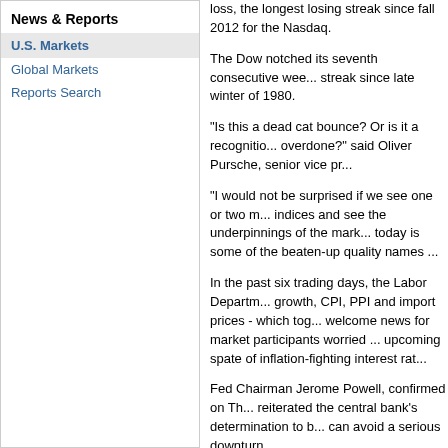News & Reports
U.S. Markets
Global Markets
Reports Search
loss, the longest losing streak since fall 2012 for the Nasdaq.
The Dow notched its seventh consecutive wee... streak since late winter of 1980.
"Is this a dead cat bounce? Or is it a recognitio... overdone?" said Oliver Pursche, senior vice pr...
"I would not be surprised if we see one or two m... indices and see the underpinnings of the mark... today is some of the beaten-up quality names ...
In the past six trading days, the Labor Departm... growth, CPI, PPI and import prices - which tog... welcome news for market participants worried ... upcoming spate of inflation-fighting interest rat...
Fed Chairman Jerome Powell, confirmed on Th... reiterated the central bank's determination to b... can avoid a serious downturn.
Powell "demonstrated a humility and seriousne... of Chase Investment Counsel in Charlottesville... inflation under control, even if he admits it's go...
According to preliminary data, the S&P 500 g...